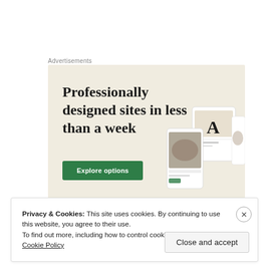Advertisements
[Figure (illustration): Advertisement banner with beige background showing headline 'Professionally designed sites in less than a week' with a green 'Explore options' button and decorative device mockups on the right side.]
Privacy & Cookies: This site uses cookies. By continuing to use this website, you agree to their use.
To find out more, including how to control cookies, see here: Cookie Policy
Close and accept